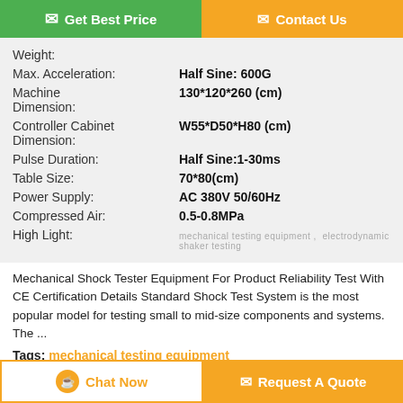[Figure (other): Two buttons at top: green 'Get Best Price' and orange 'Contact Us']
Weight:
Max. Acceleration: Half Sine: 600G
Machine Dimension: 130*120*260 (cm)
Controller Cabinet Dimension: W55*D50*H80 (cm)
Pulse Duration: Half Sine:1-30ms
Table Size: 70*80(cm)
Power Supply: AC 380V 50/60Hz
Compressed Air: 0.5-0.8MPa
High Light: mechanical testing equipment , electrodynamic shaker testing
Mechanical Shock Tester Equipment For Product Reliability Test With CE Certification Details Standard Shock Test System is the most popular model for testing small to mid-size components and systems. The ...
Tags: mechanical testing equipment
[Figure (other): Two buttons at bottom: white 'Chat Now' with orange border and orange 'Request A Quote']